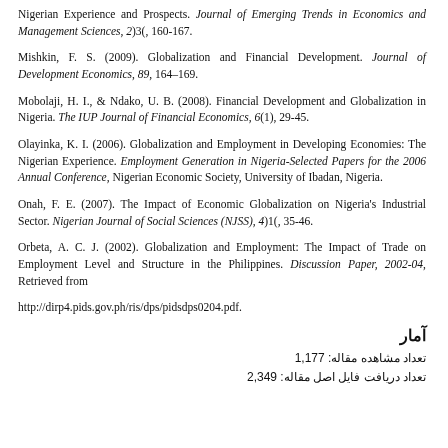Nigerian Experience and Prospects. Journal of Emerging Trends in Economics and Management Sciences, 2)3(, 160-167.
Mishkin, F. S. (2009). Globalization and Financial Development. Journal of Development Economics, 89, 164–169.
Mobolaji, H. I., & Ndako, U. B. (2008). Financial Development and Globalization in Nigeria. The IUP Journal of Financial Economics, 6(1), 29-45.
Olayinka, K. I. (2006). Globalization and Employment in Developing Economies: The Nigerian Experience. Employment Generation in Nigeria-Selected Papers for the 2006 Annual Conference, Nigerian Economic Society, University of Ibadan, Nigeria.
Onah, F. E. (2007). The Impact of Economic Globalization on Nigeria's Industrial Sector. Nigerian Journal of Social Sciences (NJSS), 4)1(, 35-46.
Orbeta, A. C. J. (2002). Globalization and Employment: The Impact of Trade on Employment Level and Structure in the Philippines. Discussion Paper, 2002-04, Retrieved from
http://dirp4.pids.gov.ph/ris/dps/pidsdps0204.pdf.
آمار
تعداد مشاهده مقاله: 1,177
تعداد دریافت فایل اصل مقاله: 2,349